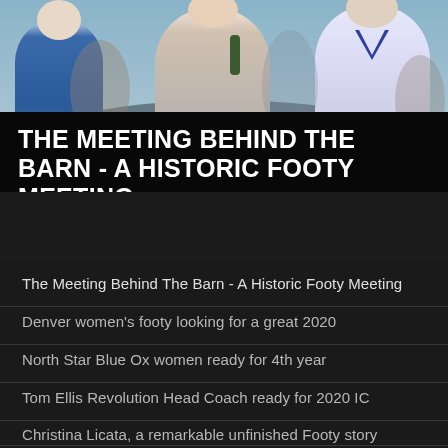[Figure (photo): Crowd of people at an outdoor Australian football event, showing fans in blue and white jerseys]
THE MEETING BEHIND THE BARN - A HISTORIC FOOTY MEETING
The Meeting Behind The Barn - A Historic Footy Meeting
Denver women's footy looking for a great 2020
North Star Blue Ox women ready for 4th year
Tom Ellis Revolution Head Coach ready for 2020 IC
Christina Licata, a remarkable unfinished Footy story
Centennial Tigers arrive quietly but mean business
Kids Saturday Morning Footy Still Going Strong